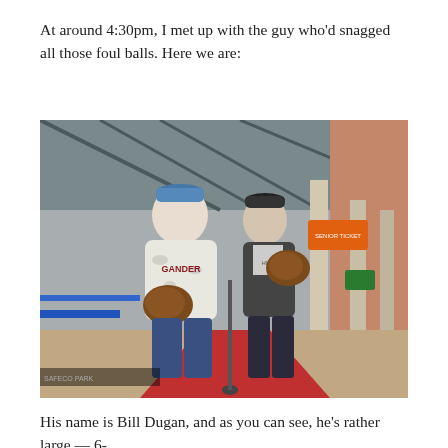At around 4:30pm, I met up with the guy who'd snagged all those foul balls. Here we are:
[Figure (photo): Two men standing outside a baseball stadium entrance, both holding large baseball gloves. The man on the left is larger, wearing a white camouflage hoodie with 'GANDER' on it and a blue cap. The man on the right is slimmer, wearing a dark hoodie and a black cap. There is a red carpet and blue barriers behind them.]
His name is Bill Dugan, and as you can see, he's rather large — 6-